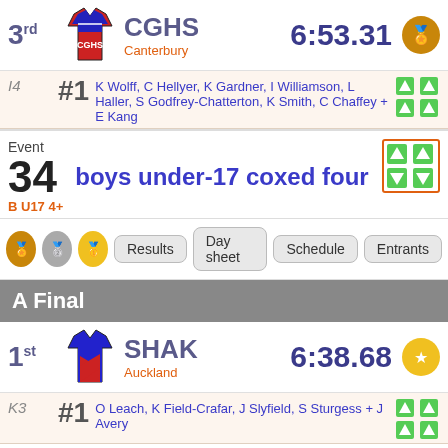| Place | Club | Region | Time | Medal |
| --- | --- | --- | --- | --- |
| 3rd | CGHS | Canterbury | 6:53.31 | bronze |
I4 #1 K Wolff, C Hellyer, K Gardner, I Williamson, L Haller, S Godfrey-Chatterton, K Smith, C Chaffey + E Kang
Event 34 boys under-17 coxed four B U17 4+
Results | Day sheet | Schedule | Entrants
A Final
| Place | Club | Region | Time | Medal |
| --- | --- | --- | --- | --- |
| 1st | SHAK | Auckland | 6:38.68 | gold |
| 2nd | STBD | Canterbury | 6:44.77 | silver |
K3 #1 O Leach, K Field-Crafar, J Slyfield, S Sturgess + J Avery